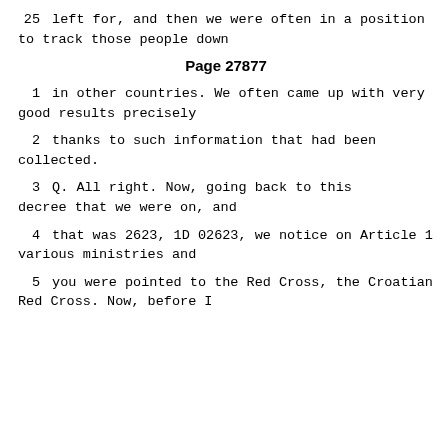25     left for, and then we were often in a position to track those people down
Page 27877
1      in other countries.  We often came up with very good results precisely
2      thanks to such information that had been collected.
3         Q.   All right.  Now, going back to this decree that we were on, and
4      that was 2623, 1D 02623, we notice on Article 1 various ministries and
5      you were pointed to the Red Cross, the Croatian Red Cross.  Now, before I